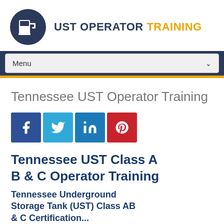[Figure (logo): UST Operator Training logo: dark navy circle with white gas pump icon, next to bold text 'UST OPERATOR' in dark navy and 'TRAINING' in orange]
Tennessee UST Operator Training
[Figure (infographic): Social media share buttons: Facebook (dark blue, f), Twitter (light blue, bird), LinkedIn (medium blue, in), Pinterest (red, P)]
Tennessee UST Class A B & C Operator Training
Tennessee Underground Storage Tank (UST) Class AB & C Certification...